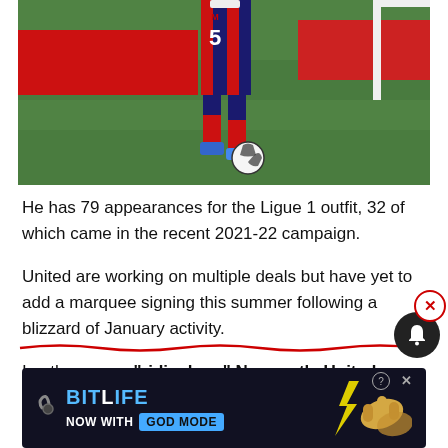[Figure (photo): Soccer player wearing number 5 jersey in dark blue and red stripes, dribbling a white ball on green grass pitch. Red advertising board visible in background.]
He has 79 appearances for the Ligue 1 outfit, 32 of which came in the recent 2021-22 campaign.
United are working on multiple deals but have yet to add a marquee signing this summer following a blizzard of January activity.
In other news, "ridiculous" Newcastle United transfer
[Figure (screenshot): BitLife game advertisement banner: dark background with BitLife logo in blue, 'NOW WITH GOD MODE' text, and cartoon hands pointing.]